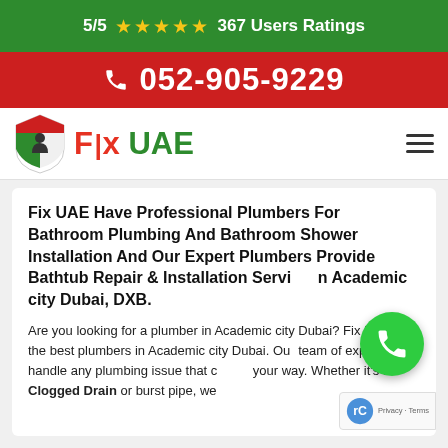5/5 ★★★★★ 367 Users Ratings
052-905-9229
[Figure (logo): Fix UAE logo with shield icon containing UAE flag and plumber figure, text reads Fix UAE]
Fix UAE Have Professional Plumbers For Bathroom Plumbing And Bathroom Shower Installation And Our Expert Plumbers Provide Bathtub Repair & Installation Service in Academic city Dubai, DXB.
Are you looking for a plumber in Academic city Dubai? Fix UAE has the best plumbers in Academic city Dubai. Our team of experts can handle any plumbing issue that comes your way. Whether it's a Clogged Drain or burst pipe, we